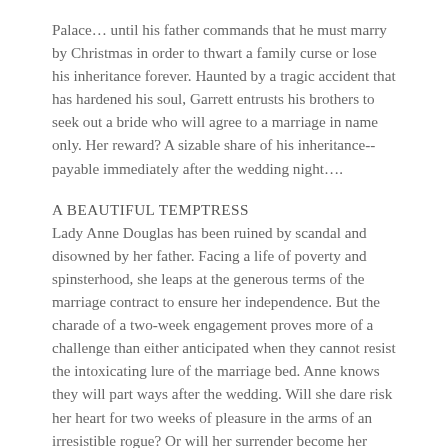Palace… until his father commands that he must marry by Christmas in order to thwart a family curse or lose his inheritance forever. Haunted by a tragic accident that has hardened his soul, Garrett entrusts his brothers to seek out a bride who will agree to a marriage in name only. Her reward? A sizable share of his inheritance--payable immediately after the wedding night….
A BEAUTIFUL TEMPTRESS
Lady Anne Douglas has been ruined by scandal and disowned by her father. Facing a life of poverty and spinsterhood, she leaps at the generous terms of the marriage contract to ensure her independence. But the charade of a two-week engagement proves more of a challenge than either anticipated when they cannot resist the intoxicating lure of the marriage bed. Anne knows they will part ways after the wedding. Will she dare risk her heart for two weeks of pleasure in the arms of an irresistible rogue? Or will her surrender become her undoing